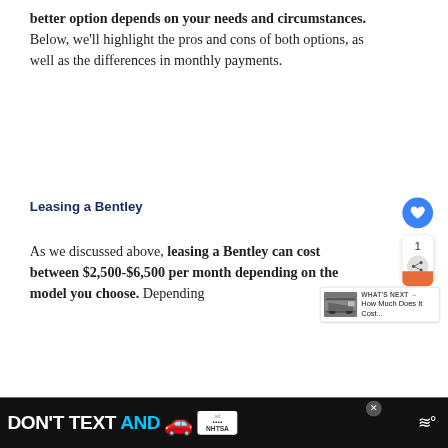better option depends on your needs and circumstances. Below, we'll highlight the pros and cons of both options, as well as the differences in monthly payments.
Leasing a Bentley
As we discussed above, leasing a Bentley can cost between $2,500-$6,500 per month depending on the model you choose. Depending
[Figure (screenshot): Advertisement bar at bottom: DON'T TEXT AND drive campaign with car emoji and NHTSA logo]